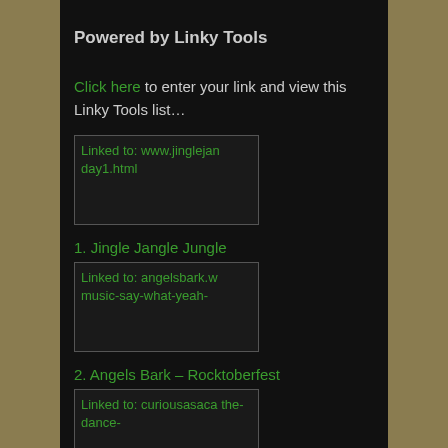Powered by Linky Tools
Click here to enter your link and view this Linky Tools list…
[Figure (screenshot): Linked image thumbnail for www.jinglejanday1.html]
1. Jingle Jangle Jungle
[Figure (screenshot): Linked image thumbnail for angelsbark.w music-say-what-yeah-]
2. Angels Bark – Rocktoberfest
[Figure (screenshot): Linked image thumbnail for curiousasaca the-dance-]